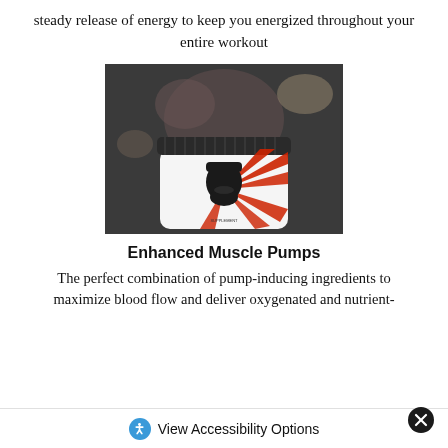steady release of energy to keep you energized throughout your entire workout
[Figure (photo): A white supplement tub with a black lid featuring a stylized face with a beard and mustache with red sunburst pattern on the label, in front of a blurred muscular person in a gym.]
Enhanced Muscle Pumps
The perfect combination of pump-inducing ingredients to maximize blood flow and deliver oxygenated and nutrient-
View Accessibility Options